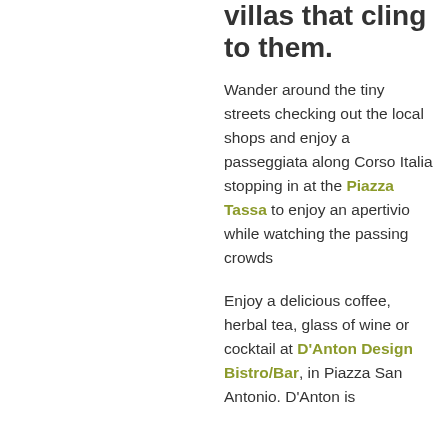villas that cling to them.
Wander around the tiny streets checking out the local shops and enjoy a passeggiata along Corso Italia stopping in at the Piazza Tassa to enjoy an apertivio while watching the passing crowds
Enjoy a delicious coffee, herbal tea, glass of wine or cocktail at D'Anton Design Bistro/Bar, in Piazza San Antonio. D'Anton is